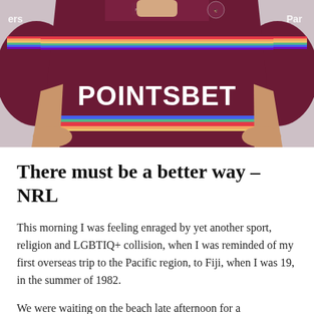[Figure (photo): A person wearing a maroon Manly Sea Eagles NRL rugby league jersey with rainbow stripes and POINTSBET sponsor logo, hands on hips, grey background.]
There must be a better way – NRL
This morning I was feeling enraged by yet another sport, religion and LGBTIQ+ collision, when I was reminded of my first overseas trip to the Pacific region, to Fiji, when I was 19, in the summer of 1982.
We were waiting on the beach late afternoon for a